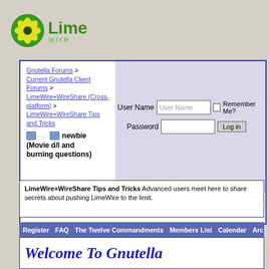[Figure (logo): LimeWire logo: green circle with yellow starburst, text 'Lime wire']
Gnutella Forums > Current Gnutella Client Forums > LimeWire+WireShare (Cross-platform) > LimeWire+WireShare Tips and Tricks
newbie (Movie d/l and burning questions)
User Name [field] Remember Me? Password [field] Log in
Register FAQ The Twelve Commandments Members List Calendar Arc
LimeWire+WireShare Tips and Tricks Advanced users meet here to share secrets about pushing LimeWire to the limit.
Welcome To Gnutella